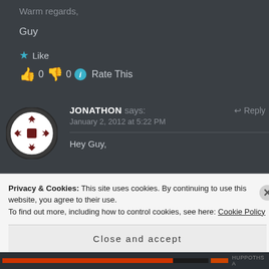Warm regards,
Guy
★ Like
👍 0 👎 0 ℹ Rate This
JONATHON says: ↩ Reply
January 2, 2012 at 5:22 PM

Hey Guy,
Privacy & Cookies: This site uses cookies. By continuing to use this website, you agree to their use.
To find out more, including how to control cookies, see here: Cookie Policy
Close and accept